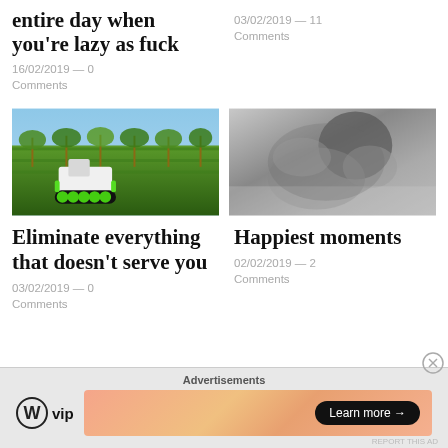entire day when you're lazy as fuck
16/02/2019 — 0 Comments
03/02/2019 — 11 Comments
[Figure (photo): Green agricultural robot/machine on tracks in a vineyard]
[Figure (photo): Black and white photo of two people, one appears to be sleeping]
Eliminate everything that doesn't serve you
03/02/2019 — 0 Comments
Happiest moments
02/02/2019 — 2 Comments
Advertisements
[Figure (logo): WordPress VIP logo with circle W icon]
[Figure (other): Orange gradient ad banner with Learn more button]